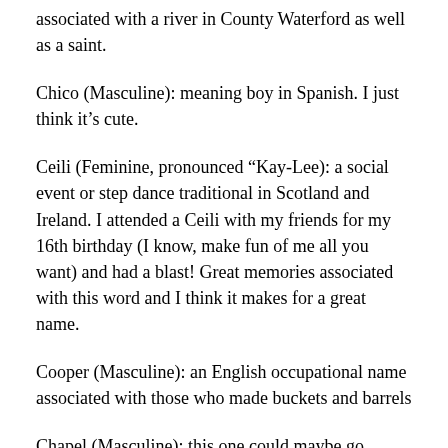associated with a river in County Waterford as well as a saint.
Chico (Masculine): meaning boy in Spanish. I just think it’s cute.
Ceili (Feminine, pronounced “Kay-Lee): a social event or step dance traditional in Scotland and Ireland. I attended a Ceili with my friends for my 16th birthday (I know, make fun of me all you want) and had a blast! Great memories associated with this word and I think it makes for a great name.
Cooper (Masculine): an English occupational name associated with those who made buckets and barrels
Chapel (Masculine): this one could maybe go